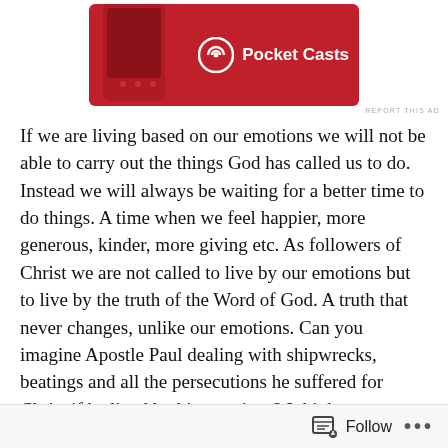[Figure (logo): Pocket Casts advertisement banner - red background with a phone device on the left, Pocket Casts logo (circular wifi-like icon) and text 'Pocket Casts' in white on the right]
REPORT THIS AD
If we are living based on our emotions we will not be able to carry out the things God has called us to do. Instead we will always be waiting for a better time to do things. A time when we feel happier, more generous, kinder, more giving etc. As followers of Christ we are not called to live by our emotions but to live by the truth of the Word of God. A truth that never changes, unlike our emotions. Can you imagine Apostle Paul dealing with shipwrecks, beatings and all the persecutions he suffered for Christ if he lived by his emotions? I think we can safely say he would never have reached the world with the gospel the way he did!
Follow ...